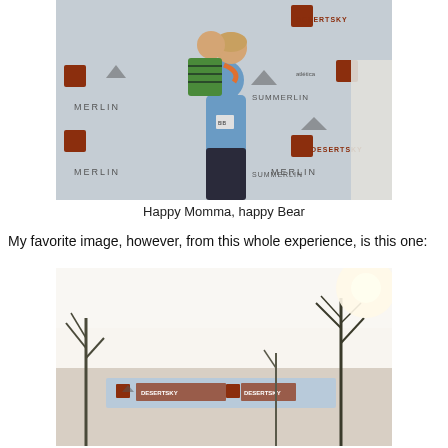[Figure (photo): A woman holding a young boy in front of a sponsor backdrop with MERLIN, DESERTSKY, and SUMMERLIN logos. The woman is wearing a blue athletic top and the child is wearing a green striped shirt.]
Happy Momma, happy Bear
My favorite image, however, from this whole experience, is this one:
[Figure (photo): A partially visible outdoor race event photo showing a banner and trees with bright sky in the background.]